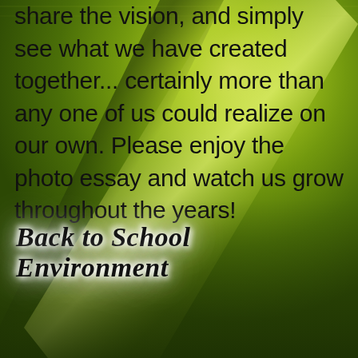[Figure (photo): Close-up macro photo of green textile or leaf fabric with diagonal fold/ridge creating a lighter yellow-green highlight against darker olive-green background.]
share the vision, and simply see what we have created together... certainly more than any one of us could realize on our own. Please enjoy the photo essay and watch us grow throughout the years!
Back to School Environment